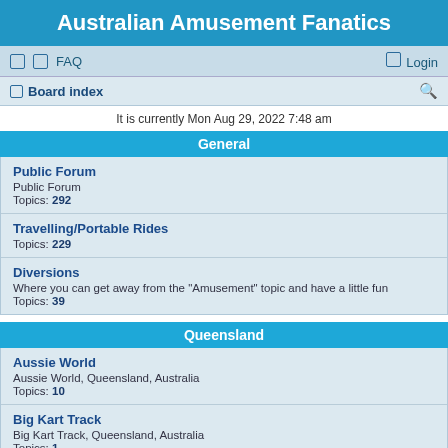Australian Amusement Fanatics
FAQ  Login
Board index
It is currently Mon Aug 29, 2022 7:48 am
General
Public Forum
Public Forum
Topics: 292
Travelling/Portable Rides
Topics: 229
Diversions
Where you can get away from the "Amusement" topic and have a little fun
Topics: 39
Queensland
Aussie World
Aussie World, Queensland, Australia
Topics: 10
Big Kart Track
Big Kart Track, Queensland, Australia
Topics: 1